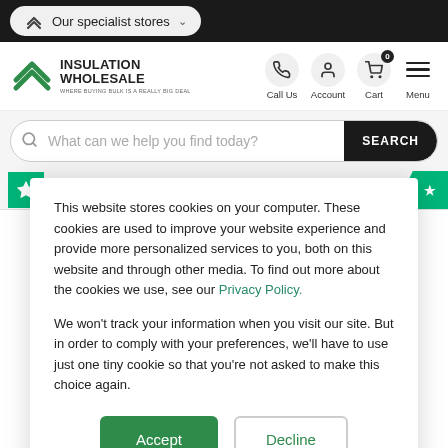Our specialist stores
[Figure (logo): Insulation Wholesale logo with double chevron icon and tagline WHERE BUYING BULK IS A REALLY BIG DEAL]
Call Us  Account  Cart  Menu
What can we help you find today? SEARCH
Rated excellent
This website stores cookies on your computer. These cookies are used to improve your website experience and provide more personalized services to you, both on this website and through other media. To find out more about the cookies we use, see our Privacy Policy.
We won't track your information when you visit our site. But in order to comply with your preferences, we'll have to use just one tiny cookie so that you're not asked to make this choice again.
Accept  Decline